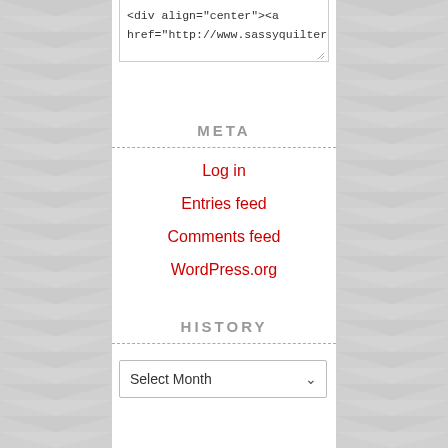<div align="center"><a href="http://www.sassyquilter.com
META
Log in
Entries feed
Comments feed
WordPress.org
HISTORY
Select Month